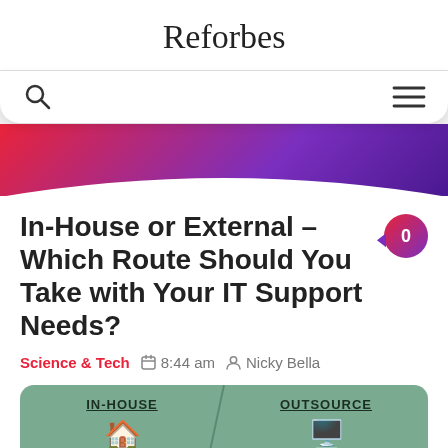Reforbes
[Figure (screenshot): Navigation bar with search icon on left and hamburger menu icon on right]
[Figure (illustration): Gradient banner with red-to-purple gradient, curving down at the bottom]
In-House or External – Which Route Should You Take with Your IT Support Needs?
Science & Tech   8:44 am   Nicky Bella
[Figure (infographic): Green infographic card split diagonally showing IN-HOUSE on the left and OUTSOURCE on the right with icons below each label]